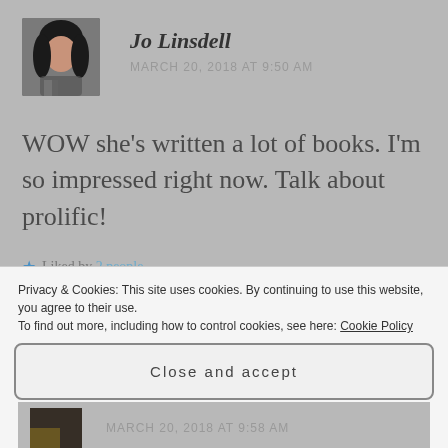[Figure (photo): Profile photo of Jo Linsdell, a woman with dark hair]
Jo Linsdell
MARCH 20, 2018 AT 9:50 AM
WOW she’s written a lot of books. I’m so impressed right now. Talk about prolific!
★ Liked by 2 people
Reply
Privacy & Cookies: This site uses cookies. By continuing to use this website, you agree to their use.
To find out more, including how to control cookies, see here: Cookie Policy
Close and accept
MARCH 20, 2018 AT 9:58 AM